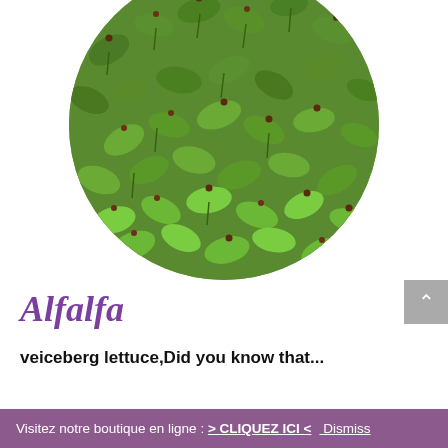[Figure (photo): Circular cropped photo of alfalfa sprouts/microgreens — dense green oval leaves with small dark brown seed tips on thin stems, filling the entire circle.]
Alfalfa
veiceberg lettuce,Did you know that...
Visitez notre boutique en ligne : > CLIQUEZ ICI < Dismiss